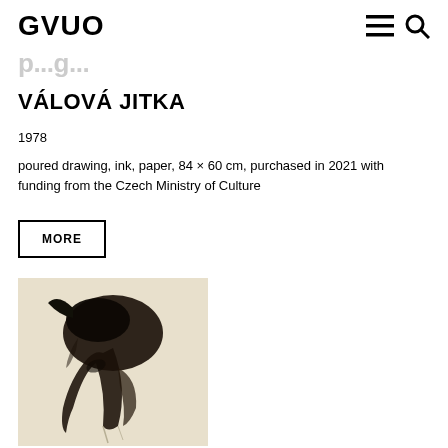GVUO
VÁLOVÁ JITKA
1978
poured drawing, ink, paper, 84 × 60 cm, purchased in 2021 with funding from the Czech Ministry of Culture
MORE
[Figure (photo): Black ink poured drawing on cream/beige paper showing an abstract bird or figure form in dark ink]